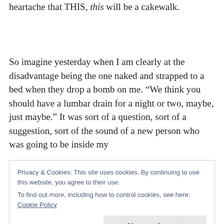heartache that THIS, this will be a cakewalk.
So imagine yesterday when I am clearly at the disadvantage being the one naked and strapped to a bed when they drop a bomb on me. “We think you should have a lumbar drain for a night or two, maybe, just maybe.” It was sort of a question, sort of a suggestion, sort of the sound of a new person who was going to be inside my
Privacy & Cookies: This site uses cookies. By continuing to use this website, you agree to their use.
To find out more, including how to control cookies, see here: Cookie Policy
as a terrible negotiator I gave him a whole extra 24 hours